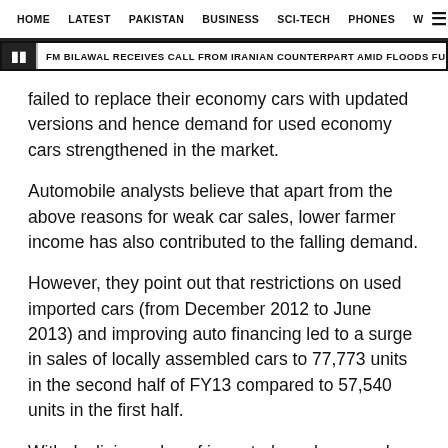HOME  LATEST  PAKISTAN  BUSINESS  SCI-TECH  PHONES  W  ☰
FM BILAWAL RECEIVES CALL FROM IRANIAN COUNTERPART AMID FLOODS FURY
failed to replace their economy cars with updated versions and hence demand for used economy cars strengthened in the market.
Automobile analysts believe that apart from the above reasons for weak car sales, lower farmer income has also contributed to the falling demand.
However, they point out that restrictions on used imported cars (from December 2012 to June 2013) and improving auto financing led to a surge in sales of locally assembled cars to 77,773 units in the second half of FY13 compared to 57,540 units in the first half.
With declining sales of imported used cars and improvements in auto financing for locally assembled...